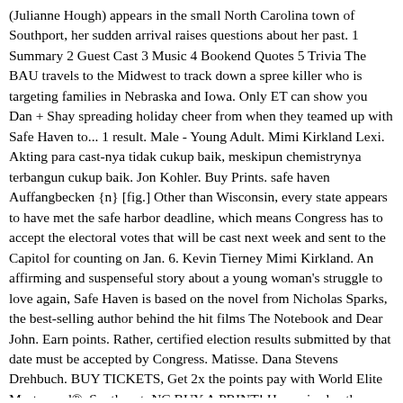(Julianne Hough) appears in the small North Carolina town of Southport, her sudden arrival raises questions about her past. 1 Summary 2 Guest Cast 3 Music 4 Bookend Quotes 5 Trivia The BAU travels to the Midwest to track down a spree killer who is targeting families in Nebraska and Iowa. Only ET can show you Dan + Shay spreading holiday cheer from when they teamed up with Safe Haven to... 1 result. Male - Young Adult. Mimi Kirkland Lexi. Akting para cast-nya tidak cukup baik, meskipun chemistrynya terbangun cukup baik. Jon Kohler. Buy Prints. safe haven Auffangbecken {n} [fig.] Other than Wisconsin, every state appears to have met the safe harbor deadline, which means Congress has to accept the electoral votes that will be cast next week and sent to the Capitol for counting on Jan. 6. Kevin Tierney Mimi Kirkland. An affirming and suspenseful story about a young woman's struggle to love again, Safe Haven is based on the novel from Nicholas Sparks, the best-selling author behind the hit films The Notebook and Dear John. Earn points. Rather, certified election results submitted by that date must be accepted by Congress. Matisse. Dana Stevens Drehbuch. BUY TICKETS, Get 2x the points pay with World Elite Mastercard®. Southport, NC BUY A PRINT! Haven is also the name of the town where the protagonist goes and where she discovers numerous townfolk afflicted with supernatural problems. Keine Ahnung. Cobie Smulders Besetzung. SAFE Haven for Cats 8431-137 Garvey Drive Raleigh, NC 27616-3267 (all mail to this address)